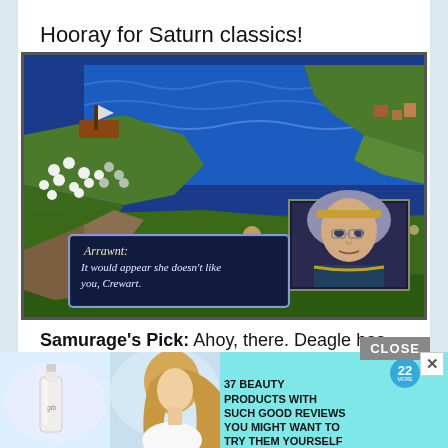Hooray for Saturn classics!
[Figure (screenshot): Retro RPG game screenshot (Sega Saturn) showing an isometric map with blue ocean, green landmasses, and game characters. A dialog box at the bottom reads 'Arrawnt: It would appear she doesn't like you, Crewart.' with a character portrait in the lower right.]
Samurage's Pick: Ahoy, there. Deagle has indeed predicted my pick this week. It'll be th
CLOSE
[Figure (photo): Advertisement banner with cyan background, showing a beauty product (glo nail polish bottle) on the left, a woman with long blonde hair in the center, a blue badge with '22' in the upper right, and bold text: '37 BEAUTY PRODUCTS WITH SUCH GOOD REVIEWS YOU MIGHT WANT TO TRY THEM YOURSELF']